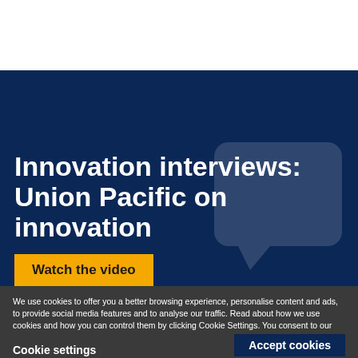[Figure (screenshot): Top white navigation bar area of a website]
Innovation interviews: Union Pacific on innovation
Watch the video
We use cookies to offer you a better browsing experience, personalise content and ads, to provide social media features and to analyse our traffic. Read about how we use cookies and how you can control them by clicking Cookie Settings. You consent to our cookies if you continue to use this website.
Cookie settings
Accept cookies